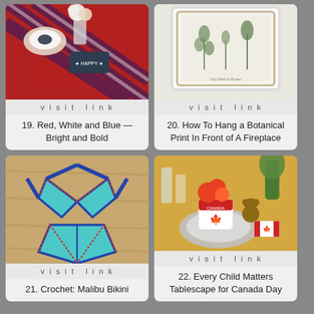[Figure (photo): Red, white and blue plaid tablecloth with flowers and dishes on a table]
visit link
19. Red, White and Blue — Bright and Bold
[Figure (photo): White framed botanical print hanging in front of a fireplace]
visit link
20. How To Hang a Botanical Print In Front of A Fireplace
[Figure (photo): Crochet Malibu bikini in teal with blue and red trim on wooden surface]
visit link
21. Crochet: Malibu Bikini
[Figure (photo): Canada Day tablescape with red flowers, teddy bear, Canada mug, and maple leaf flag]
visit link
22. Every Child Matters Tablescape for Canada Day